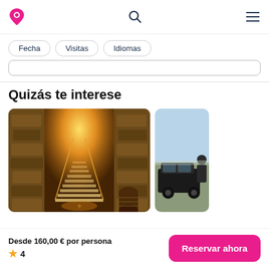Navigation bar with logo, search icon, and menu icon
Fecha
Visitas
Idiomas
Quizás te interese
[Figure (photo): Interior of a wine cellar with illuminated staircase going upward between stone walls, with barrels visible on the right]
[Figure (photo): Outdoor scene with a person and a dark vehicle, sky visible in background]
Desde 160,00 € por persona
★ 4
Reservar ahora